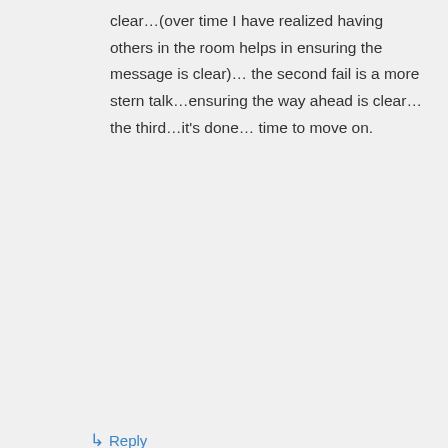clear…(over time I have realized having others in the room helps in ensuring the message is clear)… the second fail is a more stern talk…ensuring the way ahead is clear…the third…it's done… time to move on.
↳ Reply
Roger Long on January 15, 2013 at 15:39
Good point about calling a spade, a spade. Toughest part of the job when responsible for people, but those who do it, and then help their